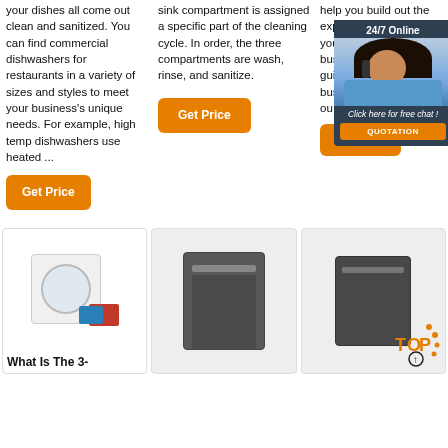your dishes all come out clean and sanitized. You can find commercial dishwashers for restaurants in a variety of sizes and styles to meet your business's unique needs. For example, high temp dishwashers use heated ...
Get Price
sink compartment is assigned a specific part of the cleaning cycle. In order, the three compartments are wash, rinse, and sanitize.
Get Price
help you build out the expenses section of your restaurant business plan. For guidance on creating a business plan, check out our template ...
Get Price
[Figure (photo): Chat widget with woman wearing headset, 24/7 Online label, and QUOTATION button]
[Figure (photo): White washing machine with colorful laundry baskets]
[Figure (photo): Dark grey built-in dishwasher]
[Figure (photo): Dark dishwasher with TOP badge overlay]
What Is The 3-